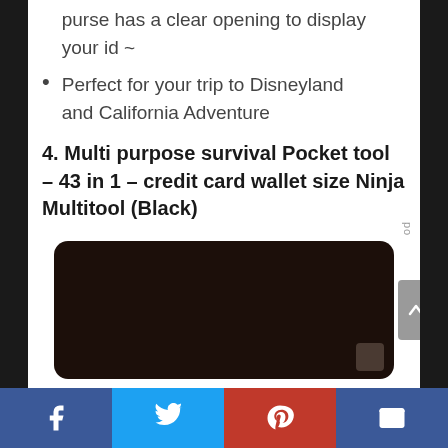purse has a clear opening to display your id ~
Perfect for your trip to Disneyland and California Adventure
4. Multi purpose survival Pocket tool – 43 in 1 – credit card wallet size Ninja Multitool (Black)
[Figure (photo): Dark brown/black rectangular card-sized multitool product photo on white background]
Social share bar: Facebook, Twitter, Pinterest, Email